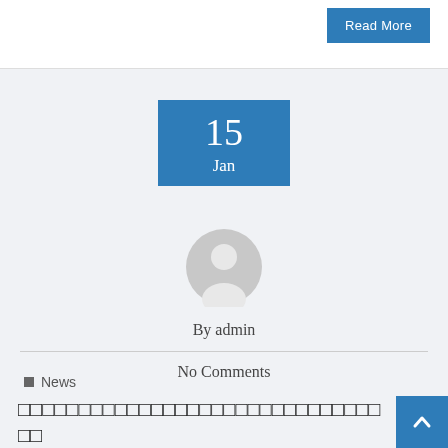Read More
15 Jan
[Figure (illustration): Gray avatar/profile placeholder icon showing a silhouette of a person]
By admin
No Comments
News
■■■■■■■■■■■■■■■■■■■■■■■■■■■■■■■■■■■■■